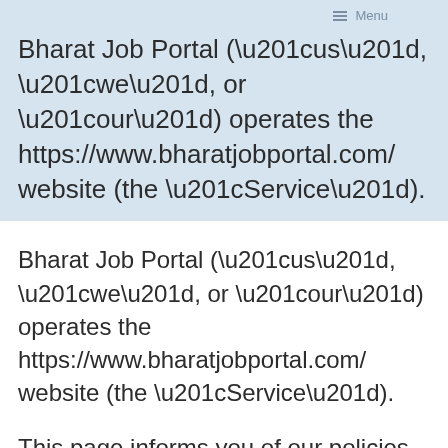Menu
Bharat Job Portal (“us”, “we”, or “our”) operates the https://www.bharatjobportal.com/ website (the “Service”).
This page informs you of our policies regarding the collection, use, and disclosure of personal data when you use our Service and the choices you have associated with that data. Our Privacy Policy for Bharat Job Portal is based on the Free Privacy Policy Template Website.
We use your data to provide and improve the Service. By using the Service, you agree to the collection and use of information in accordance with this policy. Unless otherwise